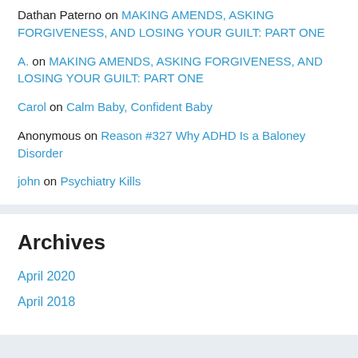Dathan Paterno on MAKING AMENDS, ASKING FORGIVENESS, AND LOSING YOUR GUILT: PART ONE
A. on MAKING AMENDS, ASKING FORGIVENESS, AND LOSING YOUR GUILT: PART ONE
Carol on Calm Baby, Confident Baby
Anonymous on Reason #327 Why ADHD Is a Baloney Disorder
john on Psychiatry Kills
Archives
April 2020
April 2018